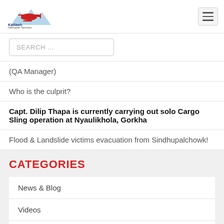[Figure (logo): Kailash Helicopter Services logo with mountain and helicopter graphic, text 'The Sanctified Nepal']
SEARCH ...
(QA Manager)
Who is the culprit?
Capt. Dilip Thapa is currently carrying out solo Cargo Sling operation at Nyaulikhola, Gorkha
Flood & Landslide victims evacuation from Sindhupalchowk!
CATEGORIES
News & Blog
Videos
Cargo Sling